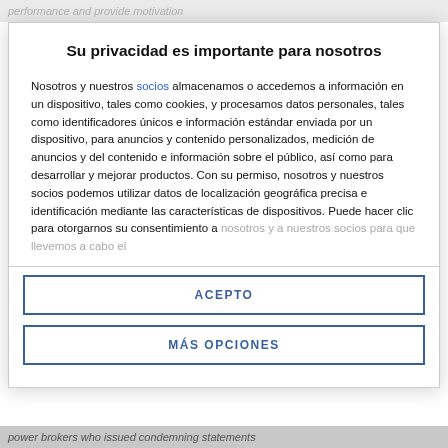performance and provide motivation
Su privacidad es importante para nosotros
Nosotros y nuestros socios almacenamos o accedemos a información en un dispositivo, tales como cookies, y procesamos datos personales, tales como identificadores únicos e información estándar enviada por un dispositivo, para anuncios y contenido personalizados, medición de anuncios y del contenido e información sobre el público, así como para desarrollar y mejorar productos. Con su permiso, nosotros y nuestros socios podemos utilizar datos de localización geográfica precisa e identificación mediante las características de dispositivos. Puede hacer clic para otorgarnos su consentimiento a nosotros y a nuestros socios para que llevemos a cabo el
ACEPTO
MÁS OPCIONES
power brokers who issued condemning statements